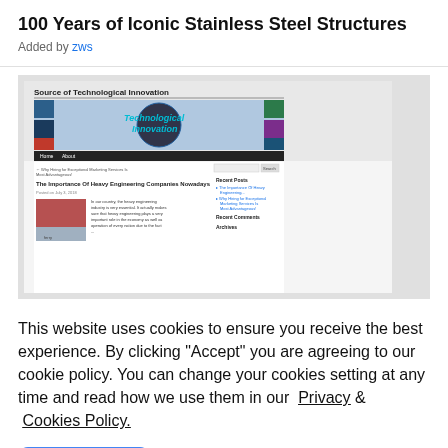100 Years of Iconic Stainless Steel Structures
Added by zws
[Figure (screenshot): Screenshot of a website titled 'Source of Technological Innovation' showing a blog page about 'The Importance Of Heavy Engineering Companies Nowadays']
This website uses cookies to ensure you receive the best experience. By clicking "Accept" you are agreeing to our cookie policy. You can change your cookies setting at any time and read how we use them in our Privacy & Cookies Policy.
Accept   Learn more